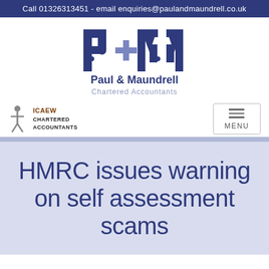Call 01326313451 - email enquiries@paulandmaundrell.co.uk
[Figure (logo): Paul & Maundrell Chartered Accountants PM logo with blue text and plus sign]
[Figure (logo): ICAEW Chartered Accountants badge with figure]
HMRC issues warning on self assessment scams